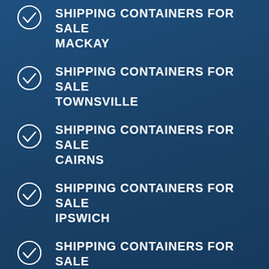SHIPPING CONTAINERS FOR SALE MACKAY
SHIPPING CONTAINERS FOR SALE TOWNSVILLE
SHIPPING CONTAINERS FOR SALE CAIRNS
SHIPPING CONTAINERS FOR SALE IPSWICH
SHIPPING CONTAINERS FOR SALE LOGAN-CITY
SHIPPING CONTAINERS FOR SALE MORETON-BAY